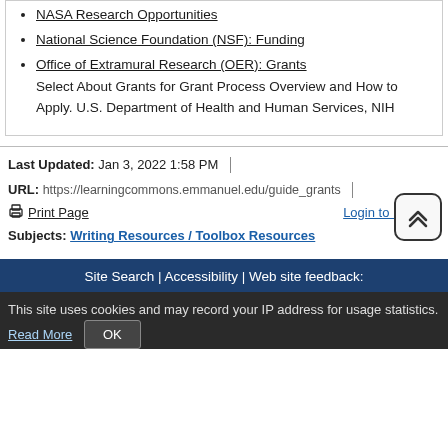NASA Research Opportunities
National Science Foundation (NSF): Funding
Office of Extramural Research (OER): Grants
Select About Grants for Grant Process Overview and How to Apply. U.S. Department of Health and Human Services, NIH
Last Updated: Jan 3, 2022 1:58 PM
URL: https://learningcommons.emmanuel.edu/guide_grants
Print Page    Login to LibApps
Subjects: Writing Resources / Toolbox Resources
Site Search | Accessibility | Web site feedback:
This site uses cookies and may record your IP address for usage statistics. Read More OK